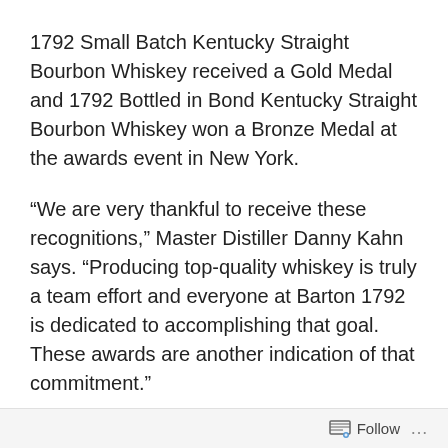1792 Small Batch Kentucky Straight Bourbon Whiskey received a Gold Medal and 1792 Bottled in Bond Kentucky Straight Bourbon Whiskey won a Bronze Medal at the awards event in New York.
“We are very thankful to receive these recognitions,” Master Distiller Danny Kahn says. “Producing top-quality whiskey is truly a team effort and everyone at Barton 1792 is dedicated to accomplishing that goal. These awards are another indication of that commitment.”
Whiskies in each category were subject to blind tastings in a three-round judging process to reward and promote the world’s best whiskies to consumers and trade across the globe.  The winners from the American World Whiskies
Follow ...